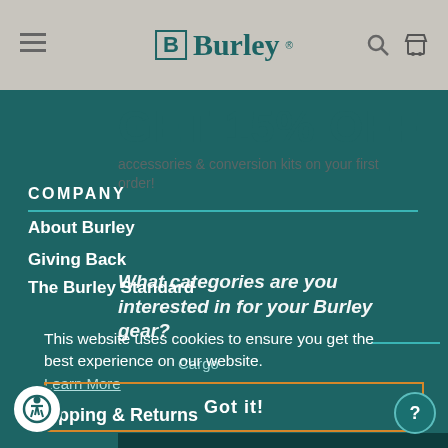Burley (navigation bar with hamburger menu, Burley logo, search and cart icons)
GET 15% OFF
accessories & conversion kits on your first order!
COMPANY
About Burley
Giving Back
The Burley Standard
What categories are you interested in for your Burley gear?
Cargo
Kid
Pet
This website uses cookies to ensure you get the best experience on our website.
Learn More
Got it!
Subscribe
pping & Returns
[Figure (screenshot): Accessibility icon button (person with circle) in bottom left corner]
[Figure (screenshot): Help/info circular button in bottom right corner]